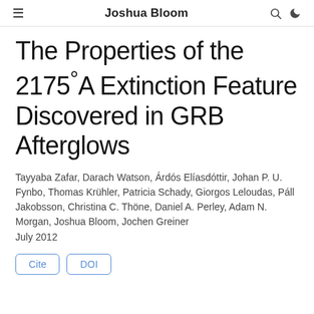Joshua Bloom
The Properties of the 2175°A Extinction Feature Discovered in GRB Afterglows
Tayyaba Zafar, Darach Watson, Árdós Elíasdóttir, Johan P. U. Fynbo, Thomas Krühler, Patricia Schady, Giorgos Leloudas, Páll Jakobsson, Christina C. Thöne, Daniel A. Perley, Adam N. Morgan, Joshua Bloom, Jochen Greiner
July 2012
Cite   DOI